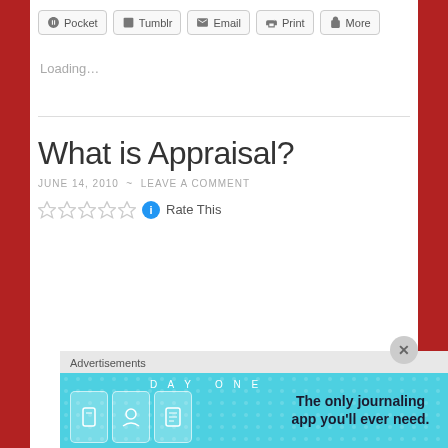[Figure (screenshot): Share buttons row: Pocket, Tumblr, Email, Print, More]
Loading…
What is Appraisal?
JUNE 14, 2010 ~ LEAVE A COMMENT
Rate This
Advertisements
[Figure (screenshot): Day One app advertisement banner — The only journaling app you'll ever need.]